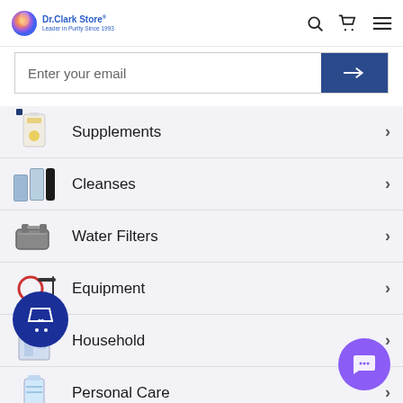Dr. Clark Store — Leader in Purity Since 1993
Enter your email
Supplements
Cleanses
Water Filters
Equipment
Household
Personal Care
Books